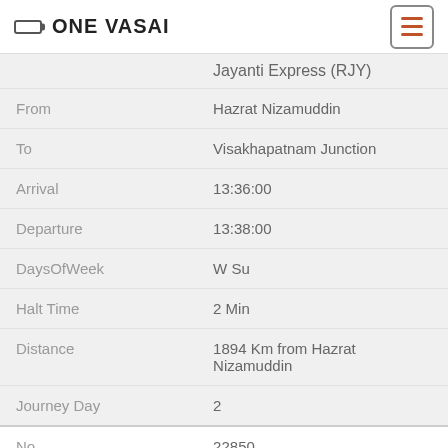ONE VASAI
| Field | Value |
| --- | --- |
|  | Jayanti Express (RJY) |
| From | Hazrat Nizamuddin |
| To | Visakhapatnam Junction |
| Arrival | 13:36:00 |
| Departure | 13:38:00 |
| DaysOfWeek | W Su |
| Halt Time | 2 Min |
| Distance | 1894 Km from Hazrat Nizamuddin |
| Journey Day | 2 |
| No | 22850 |
| Name | secunderabad Kolkata Shalimar Express (RJY) |